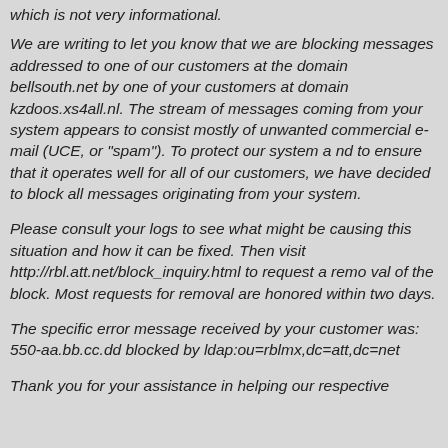which is not very informational.
We are writing to let you know that we are blocking messages addressed to one of our customers at the domain bellsouth.net by one of your customers at domain kzdoos.xs4all.nl. The stream of messages coming from your system appears to consist mostly of unwanted commercial e-mail (UCE, or "spam"). To protect our system a nd to ensure that it operates well for all of our customers, we have decided to block all messages originating from your system.
Please consult your logs to see what might be causing this situation and how it can be fixed. Then visit http://rbl.att.net/block_inquiry.html to request a remo val of the block. Most requests for removal are honored within two days.
The specific error message received by your customer was: 550-aa.bb.cc.dd blocked by ldap:ou=rblmx,dc=att,dc=net
Thank you for your assistance in helping our respective